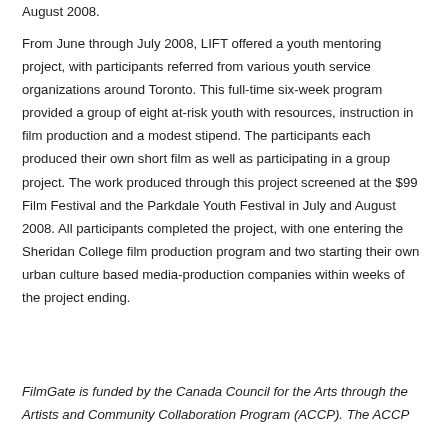August 2008.
From June through July 2008, LIFT offered a youth mentoring project, with participants referred from various youth service organizations around Toronto. This full-time six-week program provided a group of eight at-risk youth with resources, instruction in film production and a modest stipend. The participants each produced their own short film as well as participating in a group project. The work produced through this project screened at the $99 Film Festival and the Parkdale Youth Festival in July and August 2008. All participants completed the project, with one entering the Sheridan College film production program and two starting their own urban culture based media-production companies within weeks of the project ending.
FilmGate is funded by the Canada Council for the Arts through the Artists and Community Collaboration Program (ACCP). The ACCP